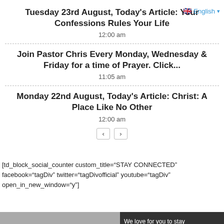English
Tuesday 23rd August, Today's Article: Your Confessions Rules Your Life
12:00 am
Join Pastor Chris Every Monday, Wednesday & Friday for a time of Prayer. Click...
11:05 am
Monday 22nd August, Today's Article: Christ: A Place Like No Other
12:00 am
< >
[td_block_social_counter custom_title="STAY CONNECTED" facebook="tagDiv" twitter="tagDivofficial" youtube="tagDiv" open_in_new_window="y"]
We love for you to stay